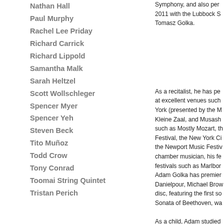Nathan Hall
Paul Murphy
Rachel Lee Priday
Richard Carrick
Richard Lippold
Samantha Malk
Sarah Heltzel
Scott Wollschleger
Spencer Myer
Spencer Yeh
Steven Beck
Tito Muñoz
Todd Crow
Tony Conrad
Toomai String Quintet
Tristan Perich
Symphony, and also performed in 2011 with the Lubbock Symphony. Tomasz Golka.
As a recitalist, he has performed at excellent venues such as New York (presented by the M... Kleine Zaal, and Musashino... such as Mostly Mozart, the... Festival, the New York City... the Newport Music Festival... chamber musician, his fe... festivals such as Marlboro... Adam Golka has premiered... Danielpour, Michael Brown... disc, featuring the first so... Sonata of Beethoven, wa...
As a child, Adam studied... Dariusz Pawlas. For most... Adam studied with the lat... significant influence. Ada...